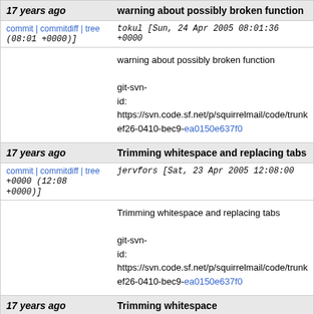| Age | Commit message |
| --- | --- |
| 17 years ago | warning about possibly broken function |
| commit | commitdiff | tree (08:01 +0000)] | tokul [Sun, 24 Apr 2005 08:01:36 +0000 (08:01 +0000)] |
|  | warning about possibly broken function

git-svn-id: https://svn.code.sf.net/p/squirrelmail/code/trunk ef26-0410-bec9-ea0150e637f0 |
| 17 years ago | Trimming whitespace and replacing tabs |
| commit | commitdiff | tree +0000 (12:08 +0000)] | jervfors [Sat, 23 Apr 2005 12:08:00 +0000 (12:08 +0000)] |
|  | Trimming whitespace and replacing tabs

git-svn-id: https://svn.code.sf.net/p/squirrelmail/code/trunk ef26-0410-bec9-ea0150e637f0 |
| 17 years ago | Trimming whitespace |
| commit | commitdiff | tree +0000 (11:42 +0000)] | jervfors [Sat, 23 Apr 2005 11:42:18 +0000 (11:42 +0000)] |
|  | Trimming whitespace |